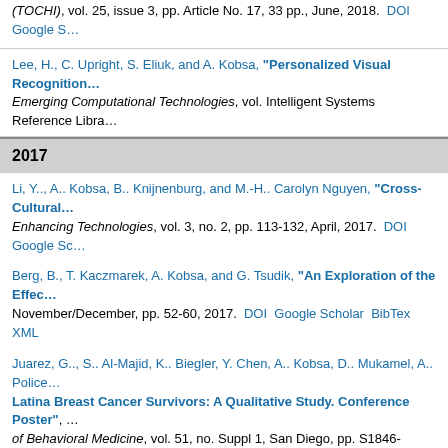(TOCHI), vol. 25, issue 3, pp. Article No. 17, 33 pp., June, 2018. DOI Google S…
Lee, H., C. Upright, S. Eliuk, and A. Kobsa, "Personalized Visual Recognition…" Emerging Computational Technologies, vol. Intelligent Systems Reference Libra…
2017
Li, Y.., A.. Kobsa, B.. Knijnenburg, and M.-H.. Carolyn Nguyen, "Cross-Cultural…" Enhancing Technologies, vol. 3, no. 2, pp. 113-132, April, 2017. DOI Google Sc…
Berg, B., T. Kaczmarek, A. Kobsa, and G. Tsudik, "An Exploration of the Effec…" November/December, pp. 52-60, 2017. DOI Google Scholar BibTex XML
Juarez, G.., S.. Al-Majid, K.. Biegler, Y. Chen, A.. Kobsa, D.. Mukamel, A.. Police… "Latina Breast Cancer Survivors: A Qualitative Study. Conference Poster", …of Behavioral Medicine, vol. 51, no. Suppl 1, San Diego, pp. S1846-S1847, Mar…
Berg, B.., T.. Kaczmarek, A.. Kobsa, and G.. Tsudik, "Lights, Camera, Action! L…" Network Security (ACNS 2017), Kanazawa, Japan, Springer, pp. 124-144, July…
Lee, H., and A. Kobsa, "Privacy Preference Modeling and Prediction in a Sin…" Communications (PerCom), Kona, HI, pp. 276 - 285, March 13-17, 2017. DOI G…
Sorkin, D.., S.. Al-Majid, K.. Biegler, Y. Chen, S.. Du, A.. Kobsa, D.. Mukamel, A.… "and Low Acculturated Latina Breast Cancer Survivors. Conference Poster"… Annals of Behavioral Medicine, vol. 51, no. Suppl 1, San Diego, CA, pp. S2042-…
Bannochon, B., M. Banaling, B. Yuo, A. Pan, S. Phengpratob, W. Malishar…